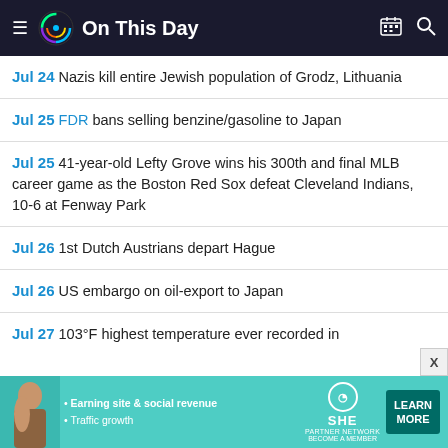On This Day
Jul 24 Nazis kill entire Jewish population of Grodz, Lithuania
Jul 25 FDR bans selling benzine/gasoline to Japan
Jul 25 41-year-old Lefty Grove wins his 300th and final MLB career game as the Boston Red Sox defeat Cleveland Indians, 10-6 at Fenway Park
Jul 26 1st Dutch Austrians depart Hague
Jul 26 US embargo on oil-export to Japan
Jul 27 103°F highest temperature ever recorded in...
[Figure (other): SHE Partner Network advertisement banner with woman photo, bullets about Earning site & social revenue and Traffic growth, SHE logo, and LEARN MORE button]